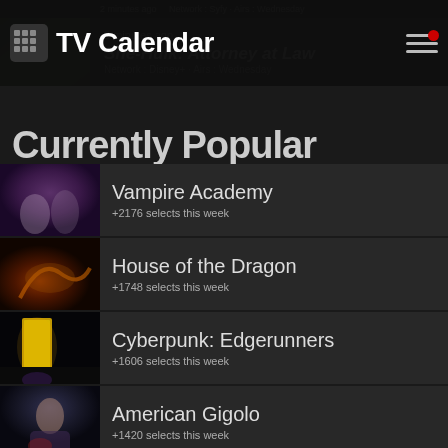2 minutes ago  Network : Syfy · Airs : Wednesday
[Figure (screenshot): She-Hulk show thumbnail]
3 minutes ago
She-Hulk: Attorney at Law
Network : Disney+ · Airs : Wednesday
TV Calendar
Currently Popular
[Figure (photo): Vampire Academy show thumbnail]
Vampire Academy
+2176 selects this week
[Figure (photo): House of the Dragon show thumbnail]
House of the Dragon
+1748 selects this week
[Figure (photo): Cyberpunk: Edgerunners show thumbnail]
Cyberpunk: Edgerunners
+1606 selects this week
[Figure (photo): American Gigolo show thumbnail]
American Gigolo
+1420 selects this week
P...